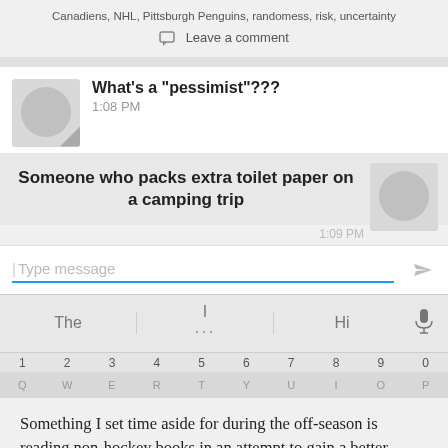Canadiens, NHL, Pittsburgh Penguins, randomess, risk, uncertainty
Leave a comment
[Figure (screenshot): Android SMS chat screenshot showing conversation bubble: 'What's a "pessimist"???' at 1:08 PM, followed by reply bubble 'Someone who packs extra toilet paper on a camping trip', with message input field 'Type message', autocomplete bar showing The | I | Hi, number row 1-0, and partial keyboard row.]
Something I set time aside for during the off-season is reading non-hockey books in an attempt to gain a better perspective on hockey. The work of Michael Lewis (Liar's Poker, The Big Short, Boomrang) and Nassim